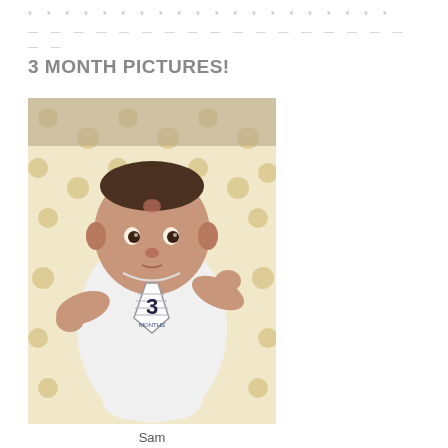* * * * * * * * * * * * * * * * * * * *
— — — — — — — — — — — — — — — — — — —
3 MONTH PICTURES!
[Figure (photo): A baby approximately 3 months old lying on a white and tan polka dot blanket, wearing a white onesie with a striped tie graphic that says '3 MONTHS'. The baby has dark hair, a small birthmark on the forehead, and is looking at the camera.]
Sam